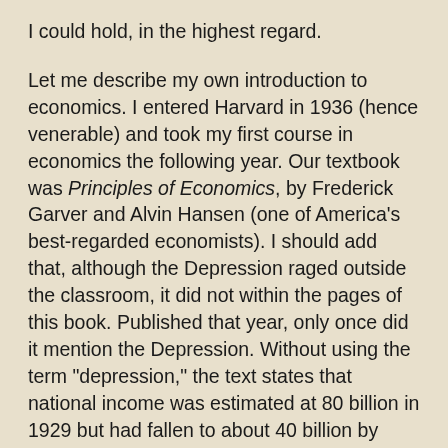I could hold, in the highest regard.
Let me describe my own introduction to economics. I entered Harvard in 1936 (hence venerable) and took my first course in economics the following year. Our textbook was Principles of Economics, by Frederick Garver and Alvin Hansen (one of America's best-regarded economists). I should add that, although the Depression raged outside the classroom, it did not within the pages of this book. Published that year, only once did it mention the Depression. Without using the term "depression," the text states that national income was estimated at 80 billion in 1929 but had fallen to about 40 billion by 1932. There is no further mention of these facts, their cause, significance, or cure.
The following year I took a more advanced course in economics taught by Wassily Leontieff. Our textbook